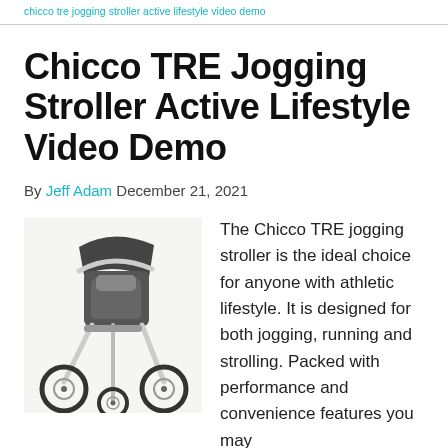chicco TRE jogging stroller active lifestyle video demo
Chicco TRE Jogging Stroller Active Lifestyle Video Demo
By Jeff Adam December 21, 2021
[Figure (photo): Photo of the Chicco TRE jogging stroller, a three-wheeled stroller with large air-filled tires, gray fabric seat with canopy, and silver/white frame.]
The Chicco TRE jogging stroller is the ideal choice for anyone with athletic lifestyle. It is designed for both jogging, running and strolling. Packed with performance and convenience features you may